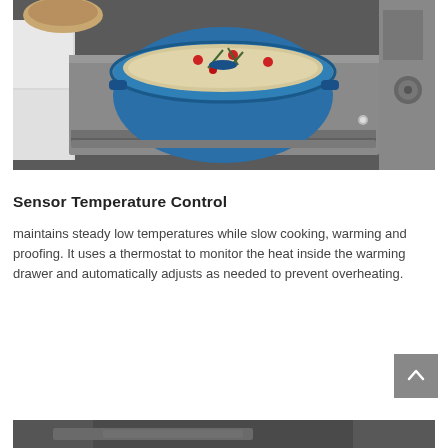[Figure (photo): A blue Dutch oven with food inside an open warming drawer of a stainless steel appliance]
Sensor Temperature Control
maintains steady low temperatures while slow cooking, warming and proofing. It uses a thermostat to monitor the heat inside the warming drawer and automatically adjusts as needed to prevent overheating.
[Figure (photo): Bottom portion of another warming drawer appliance, partially visible]